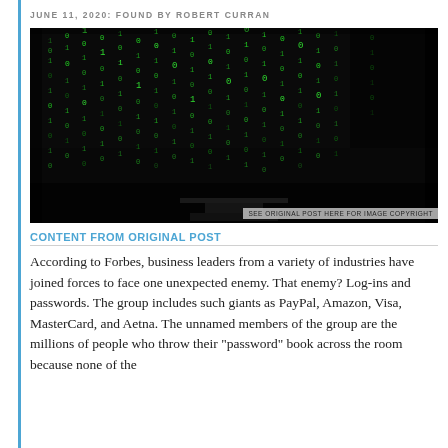JUNE 11, 2020: FOUND BY ROBERT CURRAN
[Figure (photo): Dark photograph of a computer monitor displaying green matrix-style cascading code text on a black background]
SEE ORIGINAL POST HERE FOR IMAGE COPYRIGHT
CONTENT FROM ORIGINAL POST
According to Forbes, business leaders from a variety of industries have joined forces to face one unexpected enemy. That enemy? Log-ins and passwords. The group includes such giants as PayPal, Amazon, Visa, MasterCard, and Aetna. The unnamed members of the group are the millions of people who throw their "password" book across the room because none of the